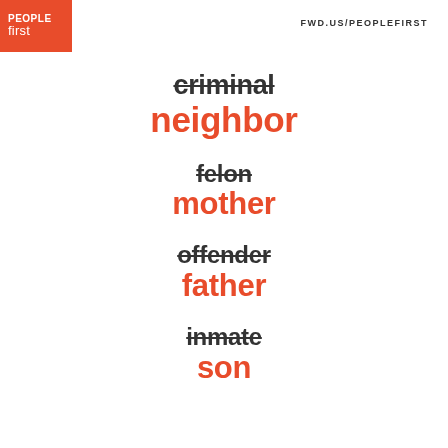[Figure (logo): Orange rectangle logo with white text: PEOPLE (bold, uppercase) on top line, first (lighter weight) on bottom line]
FWD.US/PEOPLEFIRST
criminal → neighbor
felon → mother
offender → father
inmate → son